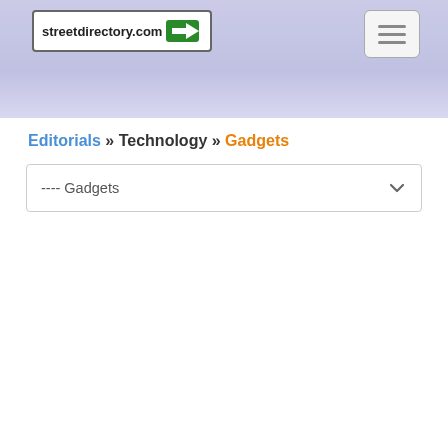[Figure (logo): streetdirectory.com logo with green arrow sign]
streetdirectory.com navigation header with hamburger menu
Editorials » Technology » Gadgets
---- Gadgets